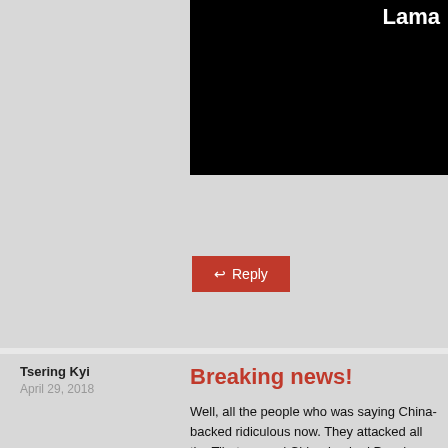[Figure (screenshot): Black video thumbnail with white text 'Lama' visible at top right]
Reply
Tsering Kyi
April 29, 2018
Breaking news!
Well, all the people who was saying China-backed ridiculous now. They attacked all the Tibetans and China-backed Panchen Lama calling them all types person and on social media. Calling them China st names for believing in the China-backed Panchen ridiculous? Now the Dalai Lama says the China-ba has a good teacher. If he has a good teacher it mea teacher himself. So he is qualified to teach. The en
Dalai Lama says the China-backed Panchen Lama Panchen Lama because high lamas can incarnate b time. So the Panchen Lama recognized by the Dala Panchen Lama are both good and both are incarnar